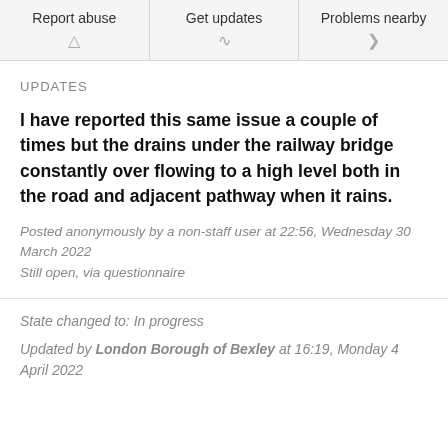Report abuse | Get updates | Problems nearby
UPDATES
I have reported this same issue a couple of times but the drains under the railway bridge constantly over flowing to a high level both in the road and adjacent pathway when it rains.
Posted anonymously by a non-staff user at 22:56, Wednesday 30 March 2022
Still open, via questionnaire
State changed to: In progress
Updated by London Borough of Bexley at 16:19, Monday 4 April 2022